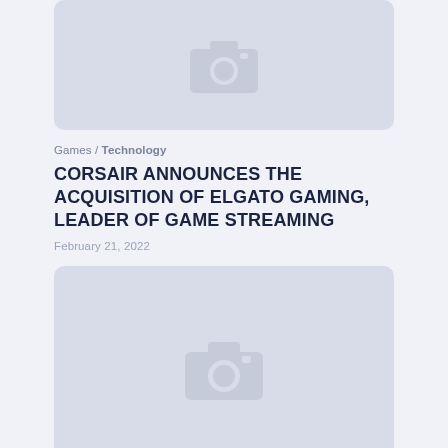[Figure (photo): Placeholder image (camera icon) for article thumbnail, partially visible at top]
Games / Technology
CORSAIR ANNOUNCES THE ACQUISITION OF ELGATO GAMING, LEADER OF GAME STREAMING
February 21, 2022
[Figure (photo): Placeholder image (camera icon) for second article thumbnail]
Dieting